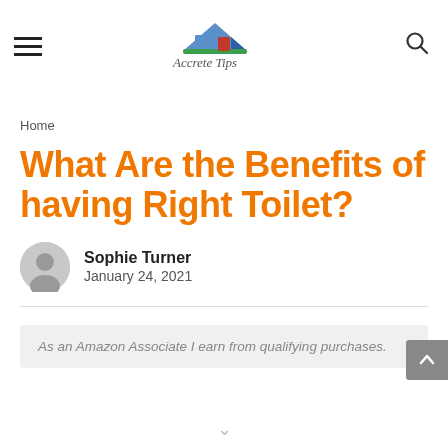Accrete Tips — navigation header with hamburger menu, logo, and search icon
Home
What Are the Benefits of having Right Toilet?
Sophie Turner
January 24, 2021
As an Amazon Associate I earn from qualifying purchases.